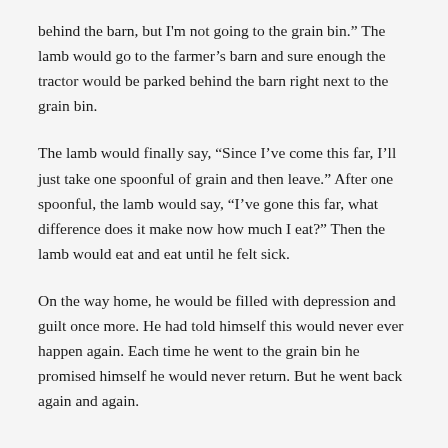behind the barn, but I'm not going to the grain bin.”  The lamb would go to the farmer’s barn and sure enough the tractor would be parked behind the barn right next to the grain bin.
The lamb would finally say, “Since I’ve come this far, I’ll just take one spoonful of grain and then leave.”  After one spoonful, the lamb would say, “I’ve gone this far, what difference does it make now how much I eat?”  Then the lamb would eat and eat until he felt sick.
On the way home, he would be filled with depression and guilt once more.  He had told himself this would never ever happen again.  Each time he went to the grain bin he promised himself he would never return.  But he went back again and again.